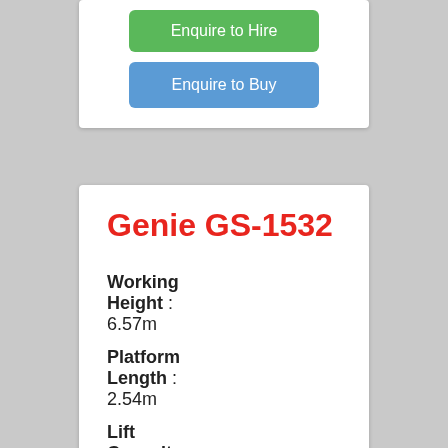[Figure (screenshot): Green 'Enquire to Hire' button]
[Figure (screenshot): Blue 'Enquire to Buy' button]
Genie GS-1532
Working Height : 6.57m
Platform Length : 2.54m
Lift Capacity : 272kg
[Figure (illustration): PDF icon at the bottom of the card]